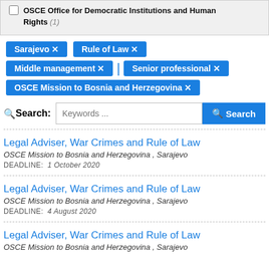OSCE Office for Democratic Institutions and Human Rights (1)
Sarajevo ×
Rule of Law ×
Middle management ×
Senior professional ×
OSCE Mission to Bosnia and Herzegovina ×
Search: Keywords ... Search
Legal Adviser, War Crimes and Rule of Law
OSCE Mission to Bosnia and Herzegovina , Sarajevo
DEADLINE: 1 October 2020
Legal Adviser, War Crimes and Rule of Law
OSCE Mission to Bosnia and Herzegovina , Sarajevo
DEADLINE: 4 August 2020
Legal Adviser, War Crimes and Rule of Law
OSCE Mission to Bosnia and Herzegovina , Sarajevo